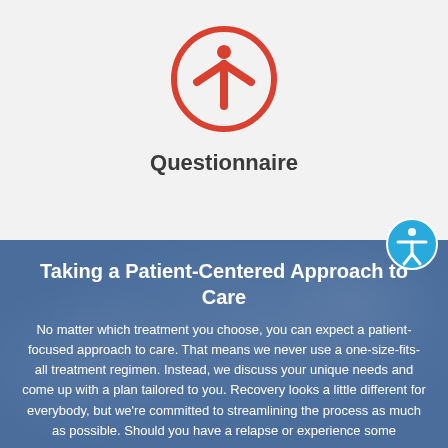[Figure (illustration): Red person/accessibility icon inside a red circle outline on a light gray background, representing a questionnaire or health form symbol]
Questionnaire
[Figure (illustration): Circular blue accessibility icon (person with arms outstretched) at the boundary between top and bottom sections]
Taking a Patient-Centered Approach to Care
No matter which treatment you choose, you can expect a patient-focused approach to care. That means we never use a one-size-fits-all treatment regimen. Instead, we discuss your unique needs and come up with a plan tailored to you. Recovery looks a little different for everybody, but we're committed to streamlining the process as much as possible. Should you have a relapse or experience some